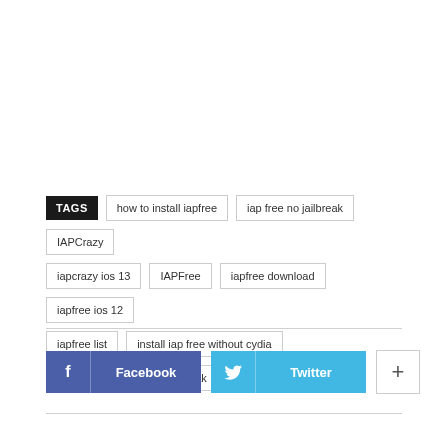TAGS  how to install iapfree  iap free no jailbreak  IAPCrazy  iapcrazy ios 13  IAPFree  iapfree download  iapfree ios 12  iapfree list  install iap free without cydia  install iap free without jailbreak  localiapstore
[Figure (other): Social sharing buttons: Facebook (dark blue), Twitter (light blue), and a plus button (outlined)]